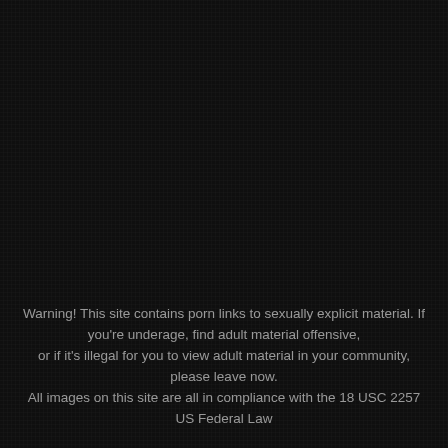Warning! This site contains porn links to sexually explicit material. If you're underage, find adult material offensive, or if it's illegal for you to view adult material in your community, please leave now. All images on this site are all in compliance with the 18 USC 2257 US Federal Law